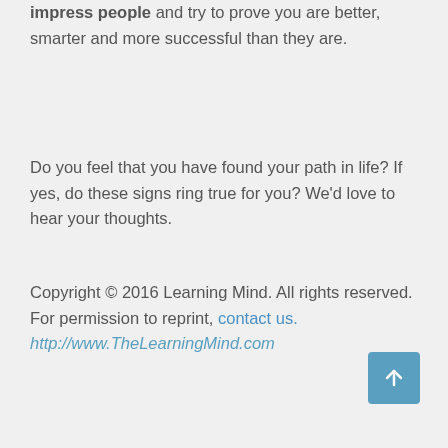impress people and try to prove you are better, smarter and more successful than they are.
Do you feel that you have found your path in life? If yes, do these signs ring true for you? We'd love to hear your thoughts.
Copyright © 2016 Learning Mind. All rights reserved. For permission to reprint, contact us. http://www.TheLearningMind.com
[Figure (other): Scroll-to-top button: teal square with white upward arrow]